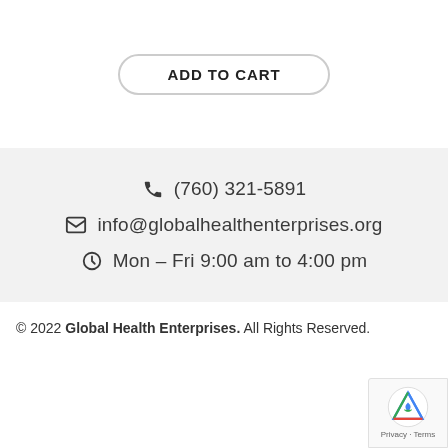ADD TO CART
(760) 321-5891
info@globalhealthenterprises.org
Mon – Fri 9:00 am to 4:00 pm
© 2022 Global Health Enterprises. All Rights Reserved.